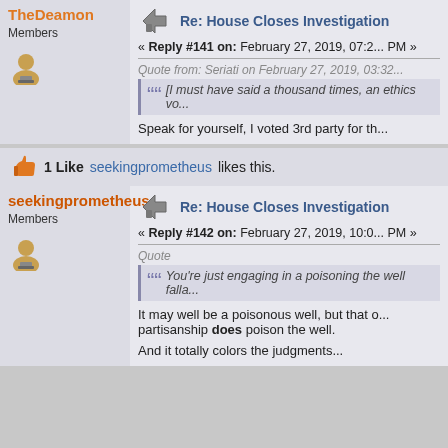TheDeamon
Members
Re: House Closes Investigation
« Reply #141 on: February 27, 2019, 07:2... PM »
Quote from: Seriati on February 27, 2019, 03:32...
[I must have said a thousand times, an ethics vo...
Speak for yourself, I voted 3rd party for th...
1 Like seekingprometheus likes this.
seekingprometheus
Members
Re: House Closes Investigation
« Reply #142 on: February 27, 2019, 10:0... PM »
Quote
You're just engaging in a poisoning the well falla...
It may well be a poisonous well, but that o... partisanship does poison the well.
And it does. It totally colors the judgments...